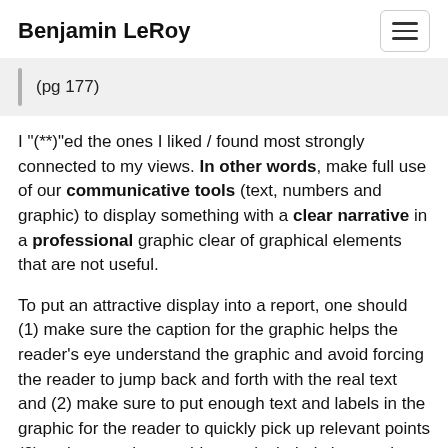Benjamin LeRoy
(pg 177)
I "(**)"ed the ones I liked / found most strongly connected to my views. In other words, make full use of our communicative tools (text, numbers and graphic) to display something with a clear narrative in a professional graphic clear of graphical elements that are not useful.
To put an attractive display into a report, one should (1) make sure the caption for the graphic helps the reader's eye understand the graphic and avoid forcing the reader to jump back and forth with the real text and (2) make sure to put enough text and labels in the graphic for the reader to quickly pick up relevant points (3) make sure the graphics are included close to the text that is related to it (I'm talking to you.)(LaTeX)).